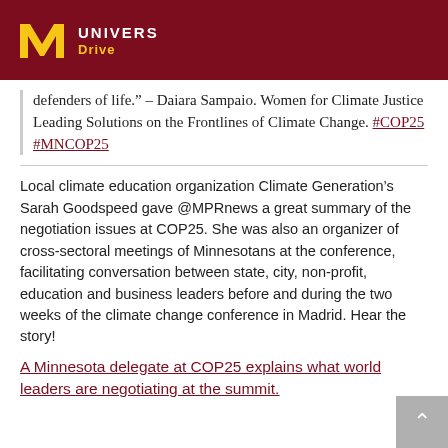UNIVERS Drive
defenders of life.” – Daiara Sampaio. Women for Climate Justice Leading Solutions on the Frontlines of Climate Change. #COP25 #MNCOP25
Local climate education organization Climate Generation’s Sarah Goodspeed gave @MPRnews a great summary of the negotiation issues at COP25. She was also an organizer of cross-sectoral meetings of Minnesotans at the conference, facilitating conversation between state, city, non-profit, education and business leaders before and during the two weeks of the climate change conference in Madrid. Hear the story!
A Minnesota delegate at COP25 explains what world leaders are negotiating at the summit.